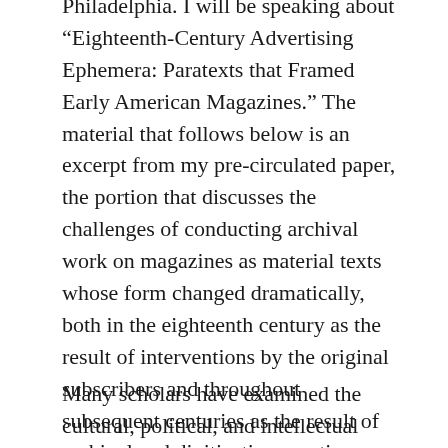Philadelphia. I will be speaking about “Eighteenth-Century Advertising Ephemera: Paratexts that Framed Early American Magazines.” The material that follows below is an excerpt from my pre-circulated paper, the portion that discusses the challenges of conducting archival work on magazines as material texts whose form changed dramatically, both in the eighteenth century as the result of interventions by the original subscribers and throughout subsequent centuries as the result of archival and digitization practices.
Many scholars have examined the cultural, political, and intellectual content of the late-